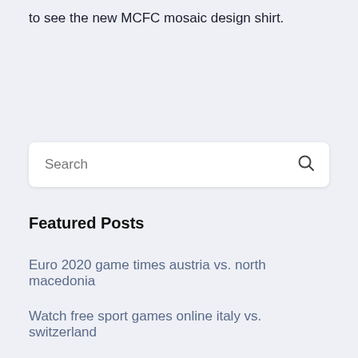to see the new MCFC mosaic design shirt.
[Figure (other): Search box UI element with magnifying glass icon]
Featured Posts
Euro 2020 game times austria vs. north macedonia
Watch free sport games online italy vs. switzerland
Finland qualifies euro 2020 hungary vs. portugal
Uefa euro 2020 ultrasone spain vs. poland